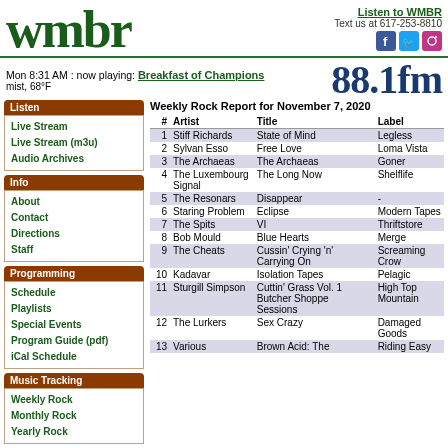wmbr | Listen to WMBR | Text us at 617-253-8810
Mon 8:31 AM : now playing: Breakfast of Champions | mist, 68°F | 88.1fm
Listen
Live Stream
Live Stream (m3u)
Audio Archives
Info
About
Contact
Directions
Staff
Programming
Schedule
Playlists
Special Events
Program Guide (pdf)
iCal Schedule
Music Tracking
Weekly Rock
Monthly Rock
Yearly Rock
Weekly Rock Report for November 7, 2020
| # | Artist | Title | Label |
| --- | --- | --- | --- |
| 1 | Stiff Richards | State of Mind | Legless |
| 2 | Sylvan Esso | Free Love | Loma Vista |
| 3 | The Archaeas | The Archaeas | Goner |
| 4 | The Luxembourg Signal | The Long Now | Shelflife |
| 5 | The Resonars | Disappear | - |
| 6 | Staring Problem | Eclipse | Modern Tapes |
| 7 | The Spits | VI | Thriftstore |
| 8 | Bob Mould | Blue Hearts | Merge |
| 9 | The Cheats | Cussin' Crying 'n' Carrying On | Screaming Crow |
| 10 | Kadavar | Isolation Tapes | Pelagic |
| 11 | Sturgill Simpson | Cuttin' Grass Vol. 1 Butcher Shoppe Sessions | High Top Mountain |
| 12 | The Lurkers | Sex Crazy | Damaged Goods |
| 13 | Various | Brown Acid: The | Riding Easy |